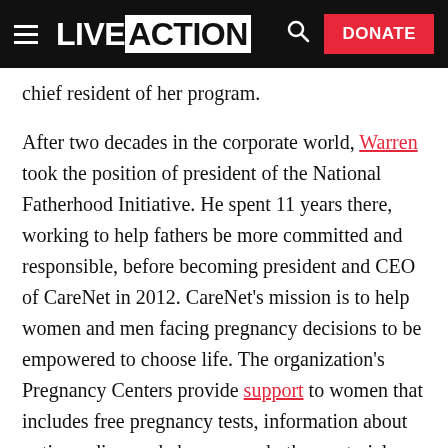LIVE ACTION — DONATE
chief resident of her program.
After two decades in the corporate world, Warren took the position of president of the National Fatherhood Initiative. He spent 11 years there, working to help fathers be more committed and responsible, before becoming president and CEO of CareNet in 2012. CareNet’s mission is to help women and men facing pregnancy decisions to be empowered to choose life. The organization’s Pregnancy Centers provide support to women that includes free pregnancy tests, information about options, diapers, baby gear and other material resources, parenting education, and post-abortion support.